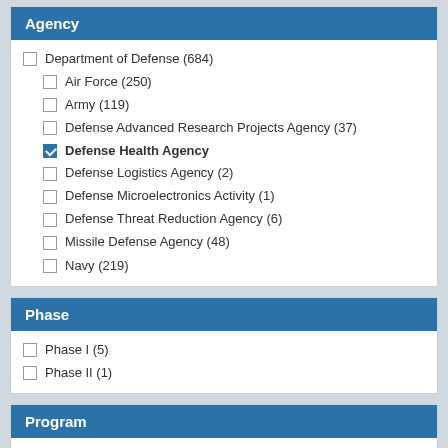Agency
Department of Defense (684)
Air Force (250)
Army (119)
Defense Advanced Research Projects Agency (37)
Defense Health Agency [checked]
Defense Logistics Agency (2)
Defense Microelectronics Activity (1)
Defense Threat Reduction Agency (6)
Missile Defense Agency (48)
Navy (219)
Phase
Phase I (5)
Phase II (1)
Program
SBIR (103)